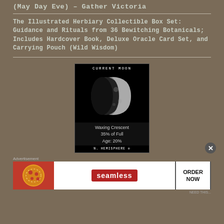(May Day Eve) – Gather Victoria
The Illustrated Herbiary Collectible Box Set: Guidance and Rituals from 36 Bewitching Botanicals; Includes Hardcover Book, Deluxe Oracle Card Set, and Carrying Pouch (Wild Wisdom)
[Figure (other): Current Moon phase widget showing a waxing crescent moon image on black background with text: CURRENT MOON, Waxing Crescent, 35% of Full, Age: 20%, N. HEMISPHERE]
Waxing Crescent
35% of Full
Age: 20%
N. HEMISPHERE
[Figure (other): Seamless food delivery advertisement banner with pizza image, Seamless logo, and ORDER NOW button]
Advertisement